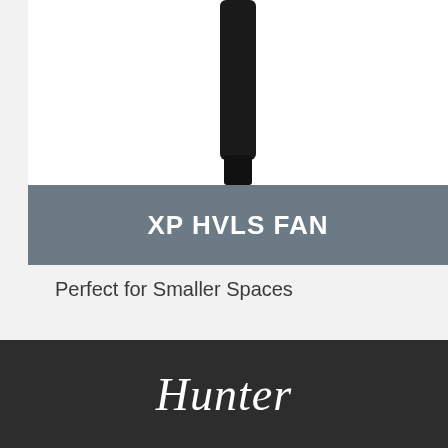[Figure (photo): Partial view of a black HVLS ceiling fan blade/motor against white background]
XP HVLS FAN
Perfect for Smaller Spaces
VIEW
Hunter